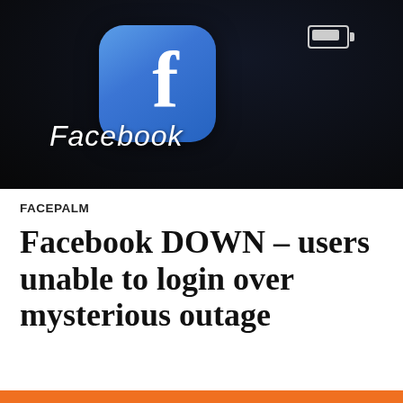[Figure (photo): Close-up photo of a smartphone screen showing the Facebook app icon (blue rounded square with white 'f' logo and 'Facebook' label) on a dark background, with a battery icon visible in the top right.]
FACEPALM
Facebook DOWN – users unable to login over mysterious outage